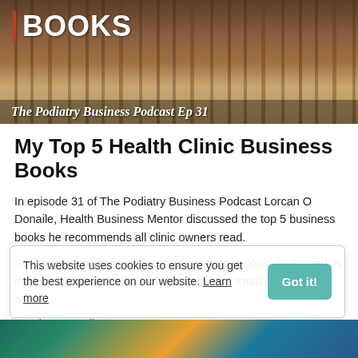[Figure (photo): Stack of books photo with red vertical bar and white 'BOOKS' text overlay, subtitle 'The Podiatry Business Podcast Ep 31' at bottom]
My Top 5 Health Clinic Business Books
In episode 31 of The Podiatry Business Podcast Lorcan O Donaile, Health Business Mentor discussed the top 5 business books he recommends all clinic owners read.
Studying the be the best business owners, it could be argued, is more important than studying more clinical training when you are a...
Continue Reading...
This website uses cookies to ensure you get the best experience on our website. Learn more
[Figure (photo): Partial bottom image with gold and teal colors]